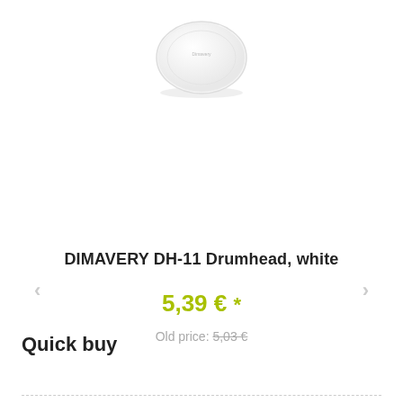[Figure (photo): White drum head, round shape, DIMAVERY brand, viewed from above at slight angle]
DIMAVERY DH-11 Drumhead, white
5,39 € *
Old price: 5,03 €
Quick buy